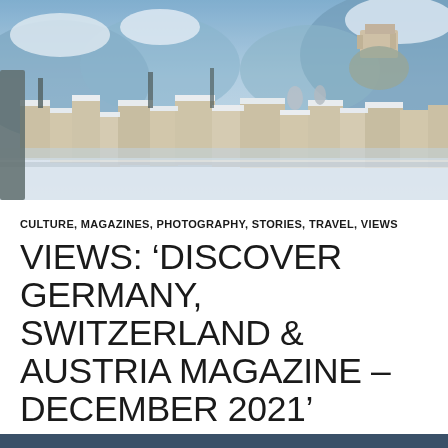[Figure (photo): Aerial panoramic winter view of a snowy European city (Salzburg, Austria), with snow-covered rooftops, rivers, historic buildings, mountains and a hilltop fortress in the background under a clear blue sky.]
CULTURE, MAGAZINES, PHOTOGRAPHY, STORIES, TRAVEL, VIEWS
VIEWS: ‘DISCOVER GERMANY, SWITZERLAND & AUSTRIA MAGAZINE – DECEMBER 2021’
© NOVEMBER 30, 2021    💬 LEAVE A COMMENT